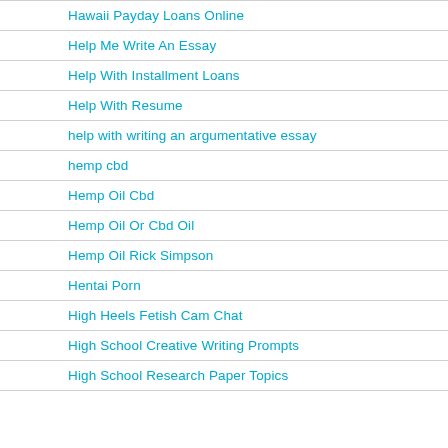Hawaii Payday Loans Online
Help Me Write An Essay
Help With Installment Loans
Help With Resume
help with writing an argumentative essay
hemp cbd
Hemp Oil Cbd
Hemp Oil Or Cbd Oil
Hemp Oil Rick Simpson
Hentai Porn
High Heels Fetish Cam Chat
High School Creative Writing Prompts
High School Research Paper Topics